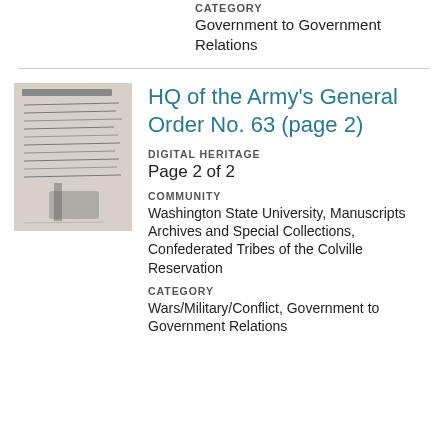CATEGORY
Government to Government Relations
[Figure (photo): Thumbnail image of a handwritten historical document page, black and white, showing cursive script text.]
HQ of the Army's General Order No. 63 (page 2)
DIGITAL HERITAGE
Page 2 of 2
COMMUNITY
Washington State University, Manuscripts Archives and Special Collections, Confederated Tribes of the Colville Reservation
CATEGORY
Wars/Military/Conflict, Government to Government Relations